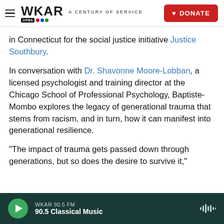WKAR A CENTURY OF SERVICE | DONATE
in Connecticut for the social justice initiative Justice Southbury.
In conversation with Dr. Shavonne Moore-Lobban, a licensed psychologist and training director at the Chicago School of Professional Psychology, Baptiste-Mombo explores the legacy of generational trauma that stems from racism, and in turn, how it can manifest into generational resilience.
"The impact of trauma gets passed down through generations, but so does the desire to survive it,"
WKAR 90.5 FM | 90.5 Classical Music